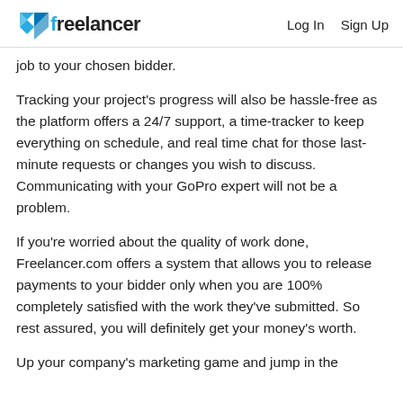freelancer  Log In  Sign Up
job to your chosen bidder.
Tracking your project's progress will also be hassle-free as the platform offers a 24/7 support, a time-tracker to keep everything on schedule, and real time chat for those last-minute requests or changes you wish to discuss. Communicating with your GoPro expert will not be a problem.
If you're worried about the quality of work done, Freelancer.com offers a system that allows you to release payments to your bidder only when you are 100% completely satisfied with the work they've submitted. So rest assured, you will definitely get your money's worth.
Up your company's marketing game and jump in the